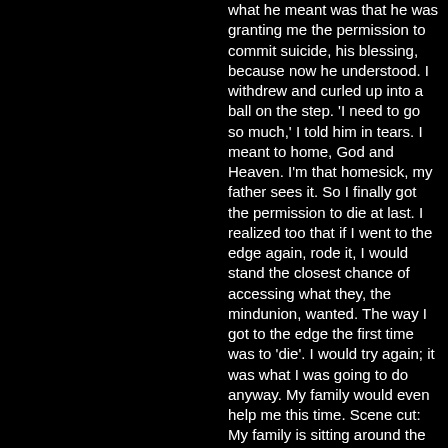what he meant was that he was granting me the permission to commit suicide, his blessing, because now he understood. I withdrew and curled up into a ball on the step. 'I need to go so much,' I told him in tears. I meant to home, God and Heaven. I'm that homesick, my father sees it. So I finally got the permission to die at last. I realized too that if I went to the edge again, rode it, I would stand the closest chance of accessing what they, the mindunion, wanted. The way I got to the edge the first time was to 'die'. I would try again; it was what I was going to do anyway. My family would even help me this time. Scene cut: My family is sitting around the living room in chairs with friends and these were my teen brother's friends and one of them was beside me and he was in the full on hip hop gear sporting labels and he slagged me for never wearing a single label and always wearing cheap stuff. He just had a way of saying it that made it clear distinguished labels